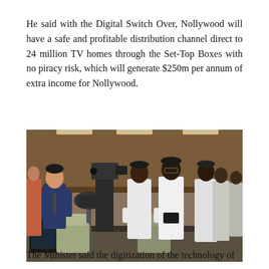He said with the Digital Switch Over, Nollywood will have a safe and profitable distribution channel direct to 24 million TV homes through the Set-Top Boxes with no piracy risk, which will generate $250m per annum of extra income for Nollywood.
[Figure (photo): A group of men in a conference room setting. A man in a suit on the left appears to be presenting or demonstrating something at a table with broadcasting equipment. Several men in traditional Nigerian white attire stand on the right listening. Camera equipment and crew are visible in the background.]
The Minister said the digitization of the technology of